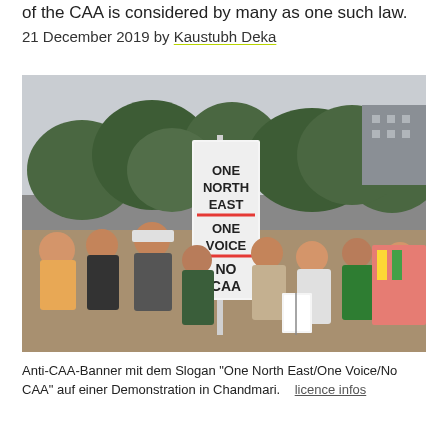of the CAA is considered by many as one such law.
21 December 2019 by Kaustubh Deka
[Figure (photo): Protest photo showing people at a demonstration holding a tall white banner reading 'ONE NORTH EAST ONE VOICE NO CAA' in Chandmari, with trees visible in the background.]
Anti-CAA-Banner mit dem Slogan "One North East/One Voice/No CAA" auf einer Demonstration in Chandmari.    licence infos